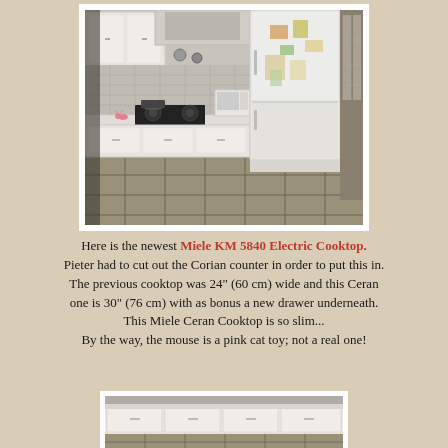[Figure (photo): Kitchen photo showing white cabinets, a black cooktop on the counter, a white microwave, a large white refrigerator with magnets, and tile flooring.]
Here is the newest Miele KM 5840 Electric Cooktop. Pieter had to cut out the Corian counter in order to put this in. The previous cooktop was 24" (60 cm) wide and this Ceran one is 30" (76 cm) with as bonus a new drawer underneath. This Miele Ceran Cooktop is so slim... By the way, the mouse is a pink cat toy; not a real one!
[Figure (photo): Partial bottom photo of kitchen or cooktop installation.]